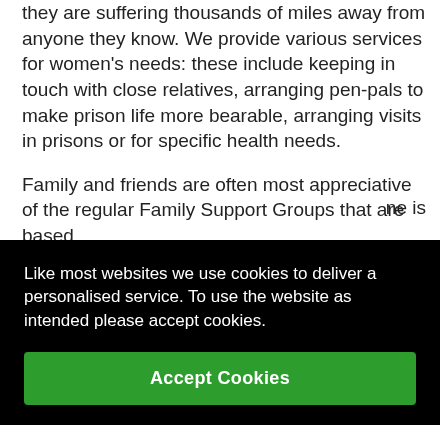they are suffering thousands of miles away from anyone they know. We provide various services for women's needs: these include keeping in touch with close relatives, arranging pen-pals to make prison life more bearable, arranging visits in prisons or for specific health needs.
Family and friends are often most appreciative of the regular Family Support Groups that are based
ne is
of
cope
Like most websites we use cookies to deliver a personalised service. To use the website as intended please accept cookies.
Accept Cookies
isolated about their circumstances than they did